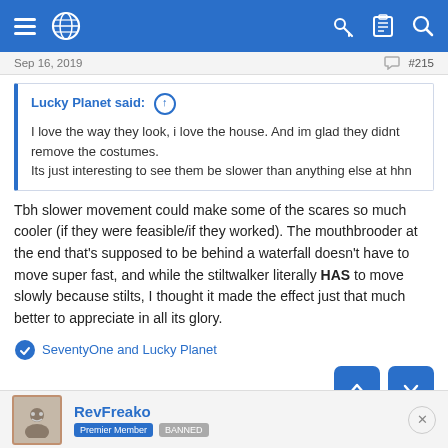Navigation bar with hamburger menu, globe icon, key icon, clipboard icon, and search icon
Sep 16, 2019   #215
Lucky Planet said: ↑

I love the way they look, i love the house. And im glad they didnt remove the costumes.
Its just interesting to see them be slower than anything else at hhn
Tbh slower movement could make some of the scares so much cooler (if they were feasible/if they worked). The mouthbrooder at the end that's supposed to be behind a waterfall doesn't have to move super fast, and while the stiltwalker literally HAS to move slowly because stilts, I thought it made the effect just that much better to appreciate in all its glory.
SeventyOne and Lucky Planet
RevFreako
Premier Member  BANNED